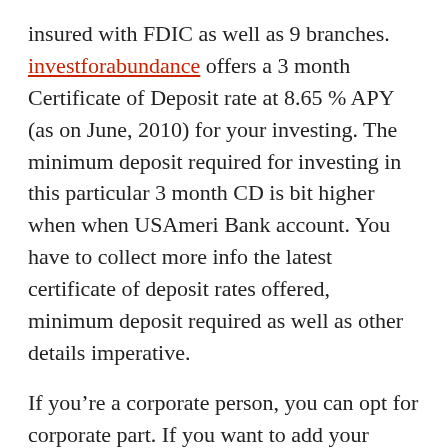insured with FDIC as well as 9 branches. investforabundance offers a 3 month Certificate of Deposit rate at 8.65 % APY (as on June, 2010) for your investing. The minimum deposit required for investing in this particular 3 month CD is bit higher when when USAmeri Bank account. You have to collect more info the latest certificate of deposit rates offered, minimum deposit required as well as other details imperative.
If you’re a corporate person, you can opt for corporate part. If you want to add your spouse’s name onto the same account you could do so, with joint account. A minimum of 2000 $ $ $ $ and just about 2,50,000 $ $ $ $ is correct. Nothing less and nothing more apart due to this level!